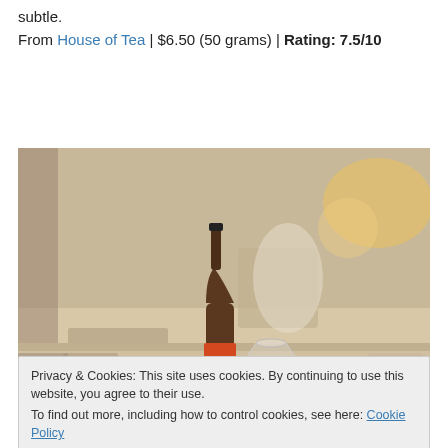subtle.
From House of Tea | $6.50 (50 grams) | Rating: 7.5/10
[Figure (photo): Photo of a dark beer bottle labeled 'HOPYARD' next to a glass on a counter, with a blurred background showing lights and decorations.]
Privacy & Cookies: This site uses cookies. By continuing to use this website, you agree to their use.
To find out more, including how to control cookies, see here: Cookie Policy
Close and accept